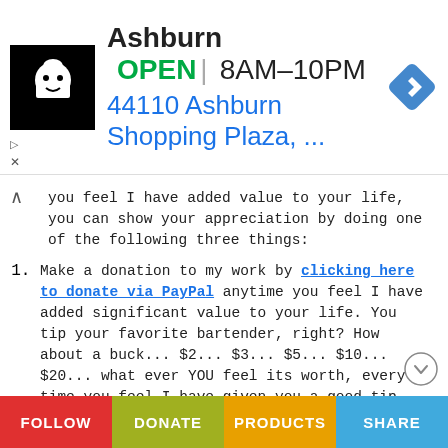[Figure (screenshot): Ad banner showing a Waze-style restaurant icon on black background, business name 'Ashburn', open status 'OPEN', hours '8AM–10PM', address '44110 Ashburn Shopping Plaza, ...' and a blue navigation diamond icon]
you feel I have added value to your life, you can show your appreciation by doing one of the following three things:
Make a donation to my work by clicking here to donate via PayPal anytime you feel I have added significant value to your life. You tip your favorite bartender, right? How about a buck... $2... $3... $5... $10... $20... what ever YOU feel its worth, every time you feel I have given you a good tip, new knowledge or helpful insight. Please feel free to donate any amount you think is equal to the value you received from my eBook & Home Study Course (audio lessons), articles, videos, emails, newsletters, etc.
FOLLOW  DONATE  PRODUCTS  SHARE